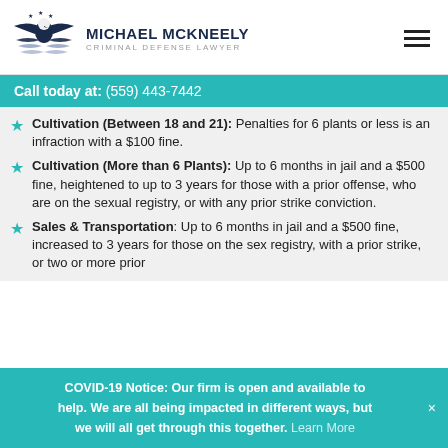[Figure (logo): Michael McKneely Criminal Defense Lawyer logo with eagle and wings emblem]
Michael McKneely Criminal Defense Lawyer
Call today at: (559) 443-7442
Cultivation (Between 18 and 21): Penalties for 6 plants or less is an infraction with a $100 fine.
Cultivation (More than 6 Plants): Up to 6 months in jail and a $500 fine, heightened to up to 3 years for those with a prior offense, who are on the sexual registry, or with any prior strike conviction.
Sales & Transportation: Up to 6 months in jail and a $500 fine, increased to 3 years for those on the sex registry, with a prior strike, or two or more prior
COVID-19 Notice: Our firm is open and available to help. We are all being impacted in different ways, but we will all get through this together. Learn More